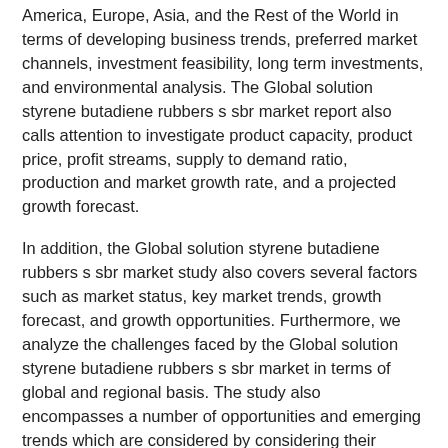America, Europe, Asia, and the Rest of the World in terms of developing business trends, preferred market channels, investment feasibility, long term investments, and environmental analysis. The Global solution styrene butadiene rubbers s sbr market report also calls attention to investigate product capacity, product price, profit streams, supply to demand ratio, production and market growth rate, and a projected growth forecast.
In addition, the Global solution styrene butadiene rubbers s sbr market study also covers several factors such as market status, key market trends, growth forecast, and growth opportunities. Furthermore, we analyze the challenges faced by the Global solution styrene butadiene rubbers s sbr market in terms of global and regional basis. The study also encompasses a number of opportunities and emerging trends which are considered by considering their impact on the global scale in acquiring a majority of the market share.